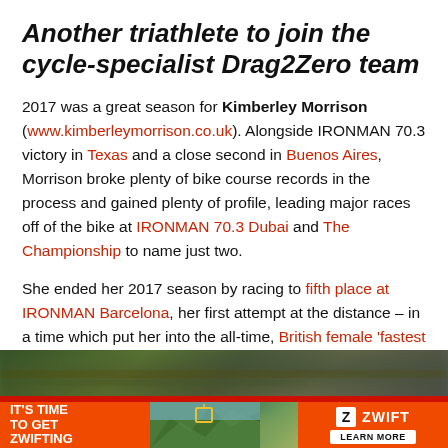Another triathlete to join the cycle-specialist Drag2Zero team
2017 was a great season for Kimberley Morrison (www.kimberleymorrison.co.uk). Alongside IRONMAN 70.3 victory in Texas and a close second in Buenos Aires, Morrison broke plenty of bike course records in the process and gained plenty of profile, leading major races off of the bike at IRONMAN 70.3 Dubai and The Championship to name just two.
She ended her 2017 season by racing to fifth place at IRONMAN Barcelona, her first attempt at the distance – in a time which put her into the all-time, British female 'fastest iron-distance' rankings.
[Figure (photo): Blurred outdoor cycling action photo strip at top of advertisement area, followed by an orange Zwift advertisement banner with text 'IT'S TIME TO GET ZWIFTING' on the left, a scenic mountain image in the middle, and the Zwift logo with 'LEARN MORE' button on the right.]